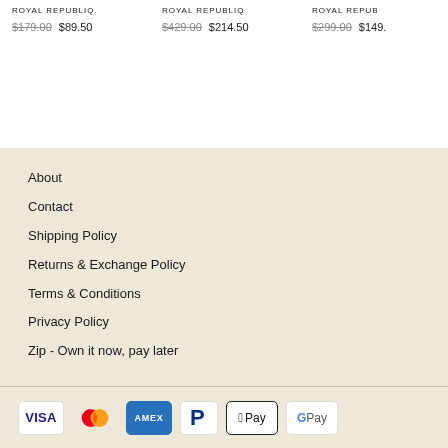ROYAL REPUBLIQ
$179.00 $89.50
ROYAL REPUBLIQ
$429.00 $214.50
ROYAL REPUB
$299.00 $149.
About
Contact
Shipping Policy
Returns & Exchange Policy
Terms & Conditions
Privacy Policy
Zip - Own it now, pay later
[Figure (other): Payment method icons: Visa, Mastercard, American Express, PayPal, Apple Pay, Google Pay]